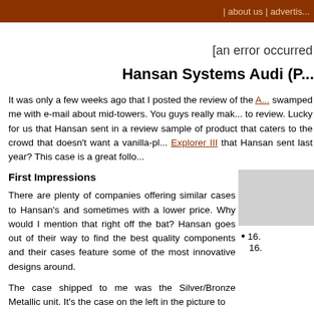| about us | advertis...
[an error occurred
Hansan Systems Audi (P...
It was only a few weeks ago that I posted the review of the [A...] swamped me with e-mail about mid-towers. You guys really mak... to review. Lucky for us that Hansan sent in a review sample of product that caters to the crowd that doesn't want a vanilla-pl... Explorer III that Hansan sent last year? This case is a great follo...
First Impressions
There are plenty of companies offering similar cases to Hansan's and sometimes with a lower price. Why would I mention that right off the bat? Hansan goes out of their way to find the best quality components and their cases feature some of the most innovative designs around.
The case shipped to me was the Silver/Bronze Metallic unit. It's the case on the left in the picture to
16. 16.